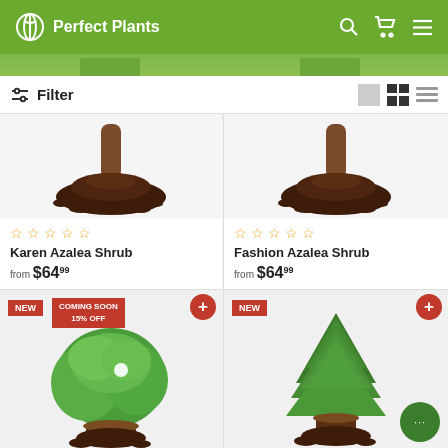Perfect Plants
Filter
[Figure (photo): Karen Azalea Shrub product card showing plant base with soil, 0-star rating, name and price from $64.99]
[Figure (photo): Fashion Azalea Shrub product card showing plant base with soil, 0-star rating, name and price from $64.99]
[Figure (photo): Product card with NEW and COMING SOON 15% OFF badges showing a green leafy plant in pot]
[Figure (photo): Product card with NEW badge showing a conifer/cypress type plant in pot, with chat bubble overlay]